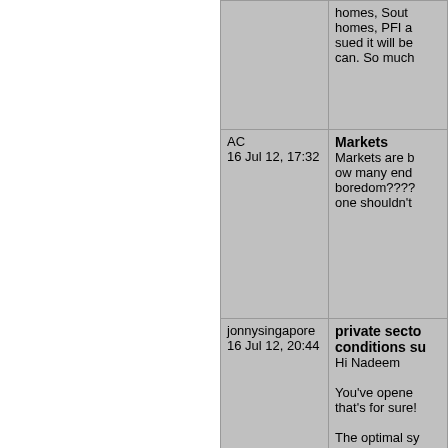| User | Content |
| --- | --- |
|  | homes, South homes, PFI a sued it will be can. So much |
| AC
16 Jul 12, 17:32 | Markets
Markets are b ow many end boredom???? one shouldn't |
| jonnysingapore
16 Jul 12, 20:44 | private secto conditions su Hi Nadeem

You've opene that's for sure!

The optimal sy even for publi 'credit card' to a service in a world was abo perfect world |